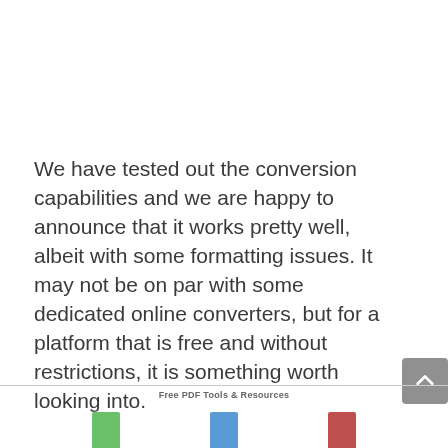We have tested out the conversion capabilities and we are happy to announce that it works pretty well, albeit with some formatting issues. It may not be on par with some dedicated online converters, but for a platform that is free and without restrictions, it is something worth looking into.
Free PDF Tools & Resources